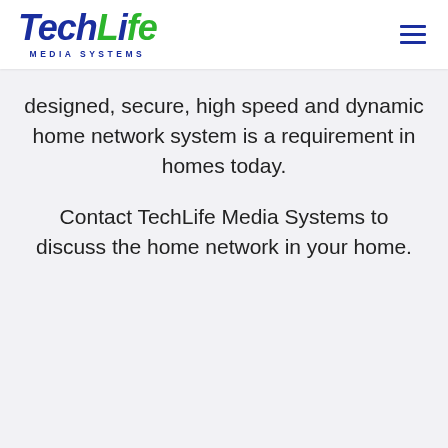[Figure (logo): TechLife Media Systems logo with 'Tech' in dark blue italic and 'Life' in green italic, with 'MEDIA SYSTEMS' subtitle in dark blue caps below]
designed, secure, high speed and dynamic home network system is a requirement in homes today.
Contact TechLife Media Systems to discuss the home network in your home.